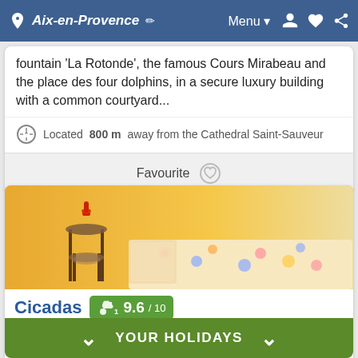Aix-en-Provence  Menu
fountain 'La Rotonde', the famous Cours Mirabeau and the place des four dolphins, in a secure luxury building with a common courtyard...
Located 800 m away from the Cathedral Saint-Sauveur
Favourite
[Figure (photo): Photo of a room interior with a floral bedspread and decorative side table, warm orange/yellow tones]
Cicadas  9.6 / 10
Apartment for 2 people in Aix-en-Provence
10 m²
20
In a...
YOUR HOLIDAYS